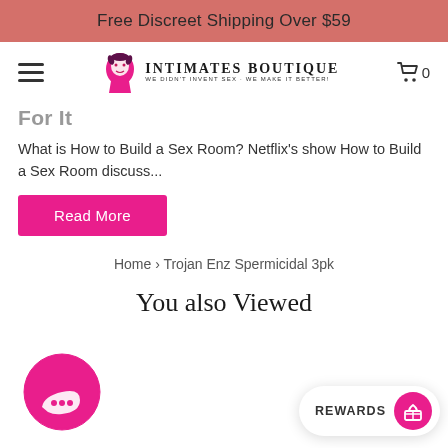Free Discreet Shipping Over $59
[Figure (logo): Intimates Boutique logo with mascot icon and tagline: We Didn't Invent Sex - We Make It Better!]
For It
What is How to Build a Sex Room? Netflix's show How to Build a Sex Room discuss...
Read More
Home › Trojan Enz Spermicidal 3pk
You also Viewed
[Figure (other): Pink circular chat/message icon at bottom left]
REWARDS